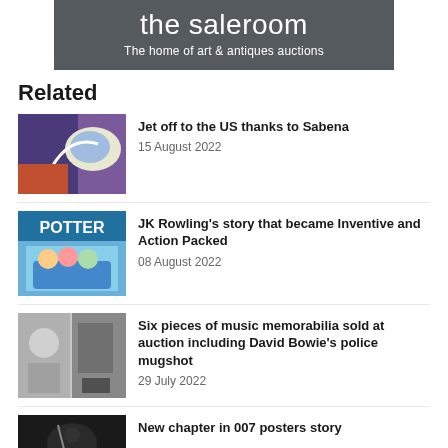the saleroom
The home of art & antiques auctions
Related
[Figure (photo): Colorful retro aviation travel poster image]
Jet off to the US thanks to Sabena
15 August 2022
[Figure (photo): Harry Potter and the Chamber of Secrets book cover illustration showing POTTER text and a flying car]
JK Rowling's story that became Inventive and Action Packed
08 August 2022
[Figure (photo): Black and white photos of music memorabilia including David Bowie police mugshot]
Six pieces of music memorabilia sold at auction including David Bowie's police mugshot
29 July 2022
[Figure (photo): Dark image related to 007 James Bond posters]
New chapter in 007 posters story